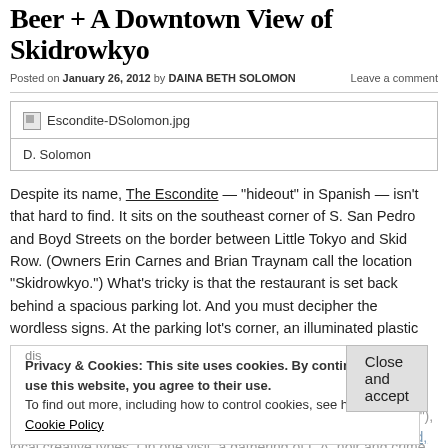Beer + A Downtown View of Skidrowkyo
Posted on January 26, 2012 by DAINA BETH SOLOMON   Leave a comment
[Figure (photo): Broken image placeholder labeled Escondite-DSolomon.jpg with caption D. Solomon]
Despite its name, The Escondite — "hideout" in Spanish — isn't that hard to find. It sits on the southeast corner of S. San Pedro and Boyd Streets on the border between Little Tokyo and Skid Row. (Owners Erin Carnes and Brian Traynam call the location "Skidrowkyo.") What's tricky is that the restaurant is set back behind a spacious parking lot. And you must decipher the wordless signs. At the parking lot's corner, an illuminated plastic sign dis... through a you... rked by a blue neon arrow pointing to the...
Privacy & Cookies: This site uses cookies. By continuing to use this website, you agree to their use. To find out more, including how to control cookies, see here: Cookie Policy
The Escondite, a bar serving burgers, sandwiches (called "sandos"), salads and appetizers, opened in September. It replaced 110 Boyd, a spot that drew local creative types. On one visit, a gathering of L.A. noir and crime writers